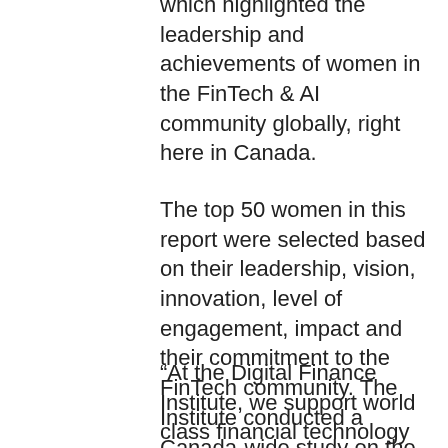which highlighted the leadership and achievements of women in the FinTech & AI community globally, right here in Canada.
The top 50 women in this report were selected based on their leadership, vision, innovation, level of engagement, impact and their commitment to the FinTech community. The Institute conducted a Canada-wide study on the FinTech ecosystem, which included in-depth research with leaders in the financial technology sector to select the top 50 women.
“At the Digital Finance Institute, we support world class financial technology being developed in Canada, much of it by women, and with this Report we highlight accomplishments to help drive